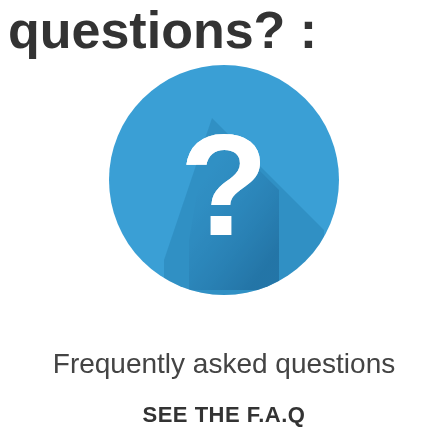questions?
[Figure (illustration): Blue circle icon with a white question mark and a long shadow effect, representing a FAQ icon]
Frequently asked questions
SEE THE F.A.Q